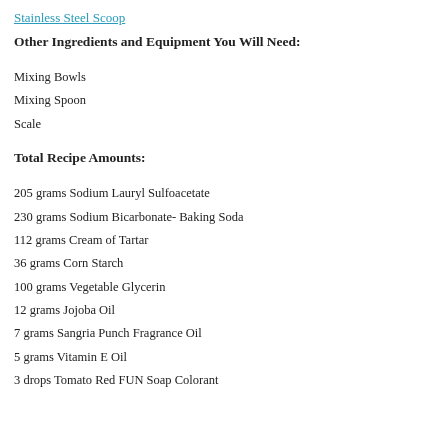Stainless Steel Scoop
Other Ingredients and Equipment You Will Need:
Mixing Bowls
Mixing Spoon
Scale
Total Recipe Amounts:
205 grams Sodium Lauryl Sulfoacetate
230 grams Sodium Bicarbonate- Baking Soda
112 grams Cream of Tartar
36 grams Corn Starch
100 grams Vegetable Glycerin
12 grams Jojoba Oil
7 grams Sangria Punch Fragrance Oil
5 grams Vitamin E Oil
3 drops Tomato Red FUN Soap Colorant